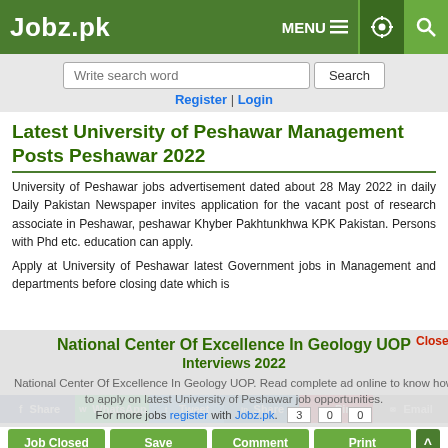Jobz.pk | MENU | settings | search
Write search word | Search | Register | Login
Latest University of Peshawar Management Posts Peshawar 2022
University of Peshawar jobs advertisement dated about 28 May 2022 in daily Daily Pakistan Newspaper invites application for the vacant post of research associate in Peshawar, peshawar Khyber Pakhtunkhwa KPK Pakistan. Persons with Phd etc. education can apply.
Apply at University of Peshawar latest Government jobs in Management and departments before closing date which is National Center Of Excellence In Geology UOP Interviews 2022, National Center Of Excellence In Geology UOP. Read complete ad online to know how to apply on latest University of Peshawar job opportunities.
For more jobs register with Jobz.pk.	3	0	0
Share | WhatsApp | Tweet | Share | Pin | Email
Job Closed | Save | Comment | Print